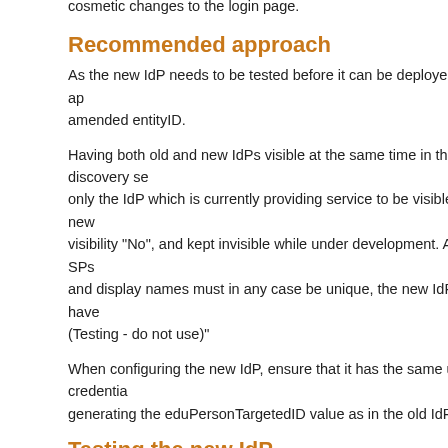cosmetic changes to the login page.
Recommended approach
As the new IdP needs to be tested before it can be deployed, the best ap… amended entityID.
Having both old and new IdPs visible at the same time in the discovery se… only the IdP which is currently providing service to be visible. So the new visibility "No", and kept invisible while under development. As not all SPs and display names must in any case be unique, the new IdP should have (Testing - do not use)"
When configuring the new IdP, ensure that it has the same user credentia… generating the eduPersonTargetedID value as in the old IdP.
Testing the new IdP
Initial testing of the new IdP should be carried out with the UK federation
To see your test IdP in the central discovery service (CDS) you will need … bottom of the page.
Please do not test a newly-registered IdP against an actual live service, u… maintainers – a misconfigured IdP may cause problems for some SPs.
Informing your service providers
Some service providers will automatically detect your new Shibboleth…